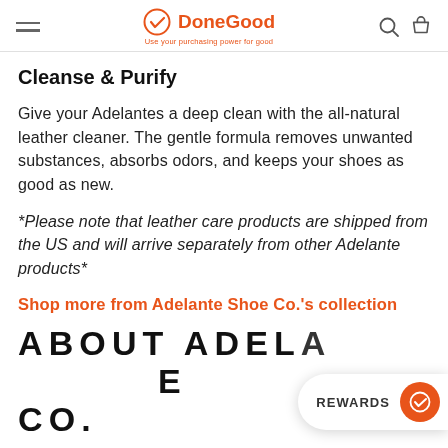DoneGood — Use your purchasing power for good
Cleanse & Purify
Give your Adelantes a deep clean with the all-natural leather cleaner. The gentle formula removes unwanted substances, absorbs odors, and keeps your shoes as good as new.
*Please note that leather care products are shipped from the US and will arrive separately from other Adelante products*
Shop more from Adelante Shoe Co.'s collection
ABOUT ADELA... CO.